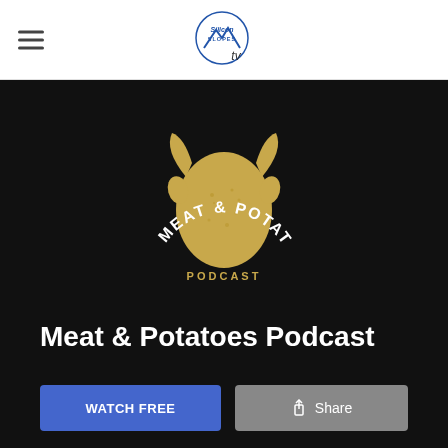Silicon Slopes TV (logo) — navigation bar with hamburger menu
[Figure (logo): Meat & Potatoes Podcast logo: golden bull/cow head silhouette with horns on black background, text MEAT & POTATOES in white arc above and PODCAST in gold below]
Meat & Potatoes Podcast
WATCH FREE | Share